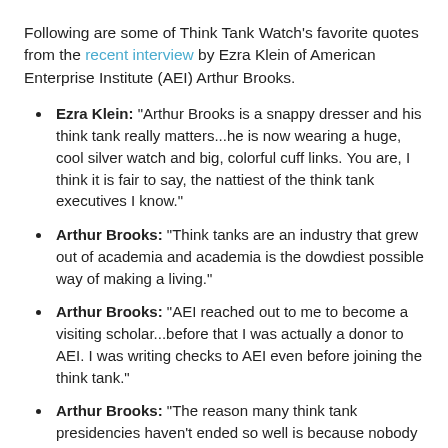Following are some of Think Tank Watch's favorite quotes from the recent interview by Ezra Klein of American Enterprise Institute (AEI) Arthur Brooks.
Ezra Klein: "Arthur Brooks is a snappy dresser and his think tank really matters...he is now wearing a huge, cool silver watch and big, colorful cuff links.  You are, I think it is fair to say, the nattiest of the think tank executives I know."
Arthur Brooks: "Think tanks are an industry that grew out of academia and academia is the dowdiest possible way of making a living."
Arthur Brooks: "AEI reached out to me to become a visiting scholar...before that I was actually a donor to AEI.  I was writing checks to AEI even before joining the think tank."
Arthur Brooks: "The reason many think tank presidencies haven't ended so well is because nobody knows what the industry standard is